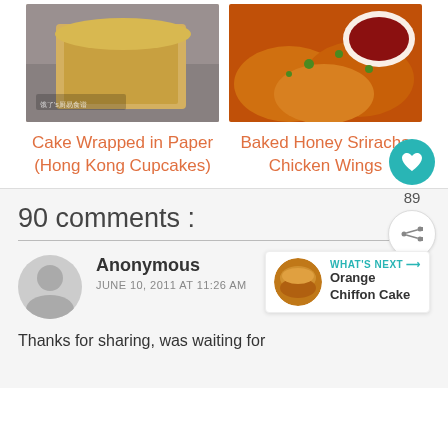[Figure (photo): Photo of a cake wrapped in paper (Hong Kong Cupcakes) — golden sponge cake in paper wrapper]
Cake Wrapped in Paper (Hong Kong Cupcakes)
[Figure (photo): Photo of Baked Honey Sriracha Chicken Wings with dipping sauce]
Baked Honey Sriracha Chicken Wings
90 comments :
Anonymous
JUNE 10, 2011 AT 11:26 AM
Thanks for sharing, was waiting for